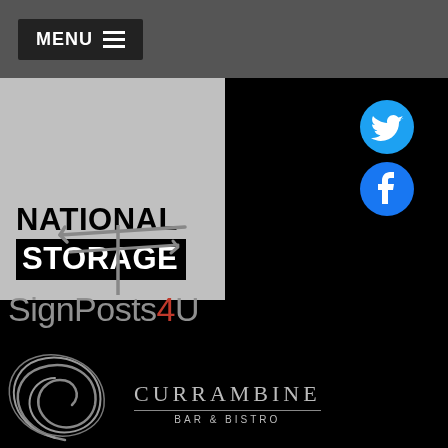MENU ☰
[Figure (logo): National Storage logo — grey background with bold black text NATIONAL and white text STORAGE on black background bar]
[Figure (logo): Twitter bird icon (blue circle)]
[Figure (logo): Facebook f icon (blue circle)]
[Figure (logo): SignPosts4U logo — grey stylized signpost / dragonfly shape above text SignPosts4U with red 4]
[Figure (logo): Currambine Bar & Bistro logo — silver swirl/curl motif with CURRAMBINE BAR & BISTRO text]